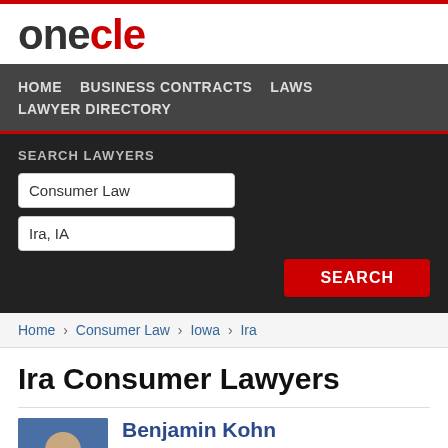onecle
HOME  BUSINESS CONTRACTS  LAWS  LAWYER DIRECTORY
SEARCH LAWYERS
Consumer Law | Ira, IA | SEARCH
Home › Consumer Law › Iowa › Ira
Ira Consumer Lawyers
Benjamin Kohn
(319) 343-6841  Free Consultation